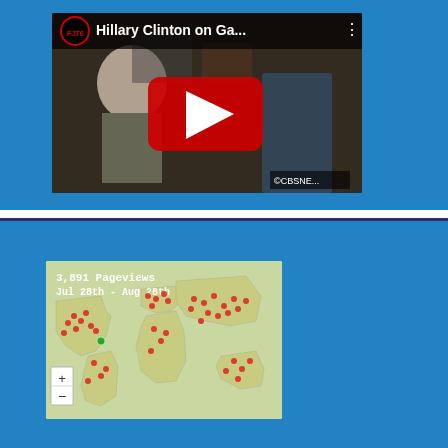[Figure (screenshot): YouTube video thumbnail showing 'Hillary Clinton on Ga...' with a red play button overlay, CBS News branding visible at bottom right. Video is from FJT6 channel.]
[Figure (map): World map showing pageview locations with red dot markers scattered across globe. Header text reads '3,891 Pageviews / Jul 28th - Aug 28th'. Map has zoom +/- controls in lower left.]